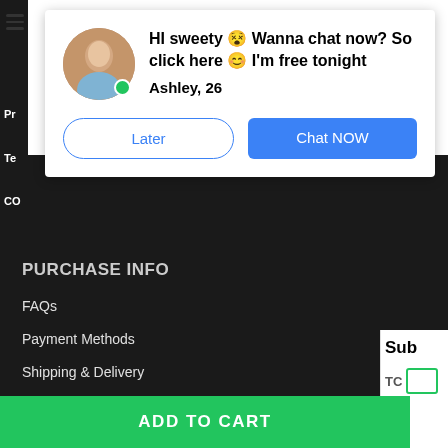[Figure (screenshot): E-commerce website screenshot partially visible behind a popup ad. Dark navigation sidebar on left showing partial text. Dark footer section with purchase info links. Right side shows partial subscription panel. Green 'Add to Cart' button at bottom.]
HI sweety 😵 Wanna chat now? So click here 😊 I'm free tonight
Ashley, 26
Later
Chat NOW
PURCHASE INFO
FAQs
Payment Methods
Shipping & Delivery
Returns Policy
Tracking
Sub
TC
ADD TO CART